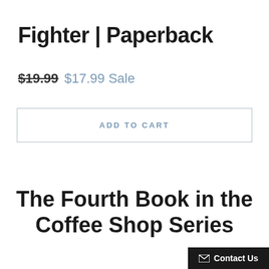Fighter | Paperback
$19.99  $17.99 Sale
ADD TO CART
The Fourth Book in the Coffee Shop Series